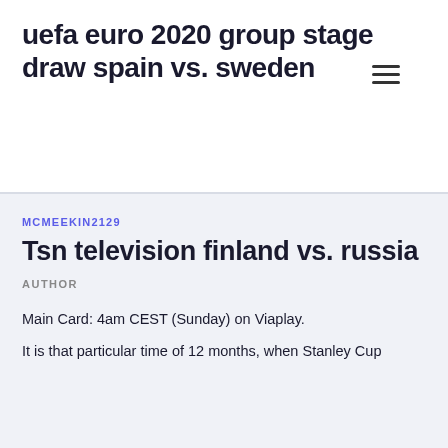uefa euro 2020 group stage draw spain vs. sweden
MCMEEKIN2129
Tsn television finland vs. russia
AUTHOR
Main Card: 4am CEST (Sunday) on Viaplay.
It is that particular time of 12 months, when Stanley Cup